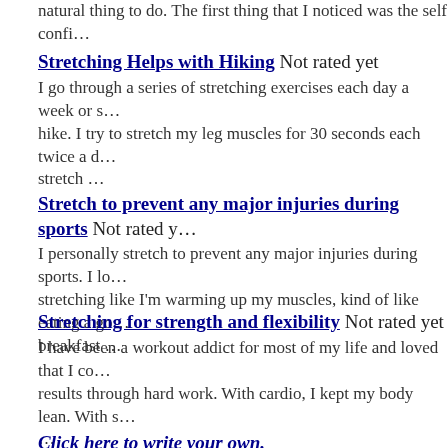natural thing to do. The first thing that I noticed was the self confi…
Stretching Helps with Hiking Not rated yet
I go through a series of stretching exercises each day a week or s… hike. I try to stretch my leg muscles for 30 seconds each twice a d… stretch …
Stretch to prevent any major injuries during sports Not rated y…
I personally stretch to prevent any major injuries during sports. I lo… stretching like I'm warming up my muscles, kind of like eating a go… breakfast …
Stretching for strength and flexibility Not rated yet
I have been a workout addict for most of my life and loved that I co… results through hard work. With cardio, I kept my body lean. With s… …
Click here to write your own.
Return from Benefit of Stretching to Abs Exercise Homepage
***righttop.shtml***
***navigation.shtml***